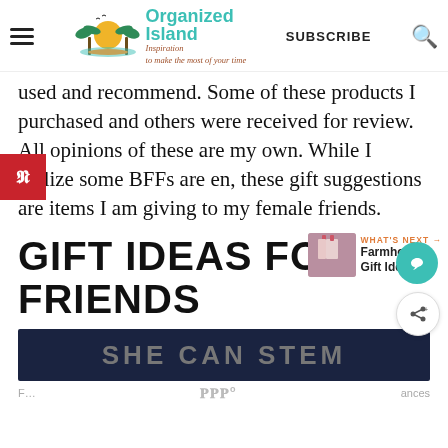Organized Island - Inspiration to make the most of your time | SUBSCRIBE
used and recommend. Some of these products I purchased and others were received for review. All opinions of these are my own. While I realize some BFFs are en, these gift suggestions are items I am giving to my female friends.
GIFT IDEAS FOR FRIENDS
[Figure (photo): SHE CAN STEM banner image with dark background]
F... ances